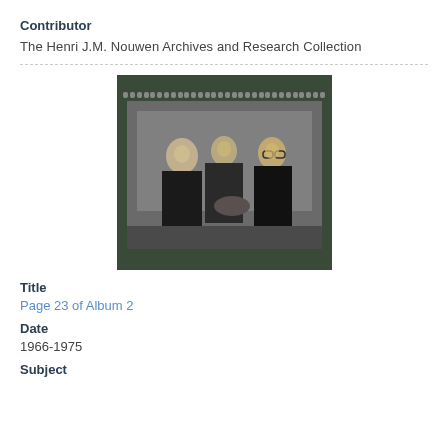Contributor
The Henri J.M. Nouwen Archives and Research Collection
[Figure (photo): Black and white photograph mounted in a spiral-bound album showing three men in suits engaged in conversation. The photo is mounted on a cream/beige page within a dark green album cover.]
Title
Page 23 of Album 2
Date
1966-1975
Subject